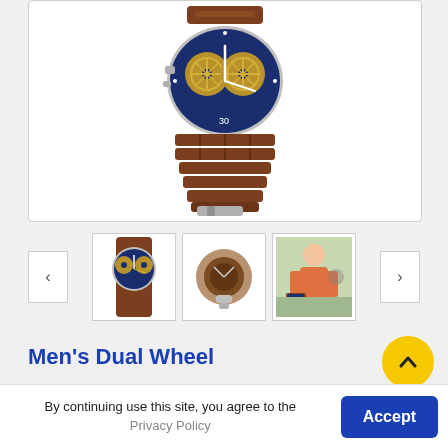[Figure (photo): Main product image: men's wooden watch with blue skeleton dial showing dual gear wheels and brown wooden link bracelet, silver accents]
[Figure (photo): Thumbnail 1: front view of the wooden watch with blue dial]
[Figure (photo): Thumbnail 2: side/back view of the wooden watch showing clasp]
[Figure (photo): Thumbnail 3: man wearing the wooden watch outdoors]
Men's Dual Wheel
By continuing use this site, you agree to the Privacy Policy